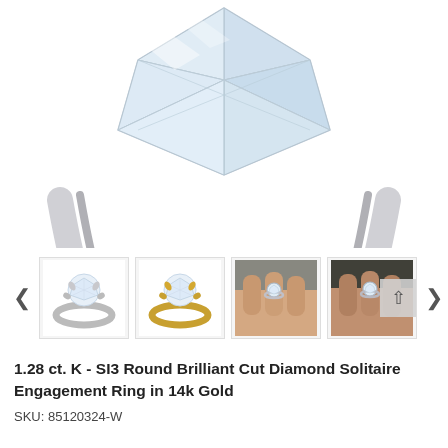[Figure (photo): Close-up of a round brilliant cut diamond solitaire ring in white gold/platinum, showing the diamond and prong setting from above at an angle, on white background.]
[Figure (photo): Thumbnail row with 4 images: 1) Silver/white gold solitaire ring on white background, 2) Yellow gold solitaire ring on white background, 3) Ring worn on a hand (bright photo), 4) Ring worn on a hand (darker photo with scroll arrow overlay).]
1.28 ct. K - SI3 Round Brilliant Cut Diamond Solitaire Engagement Ring in 14k Gold
SKU: 85120324-W